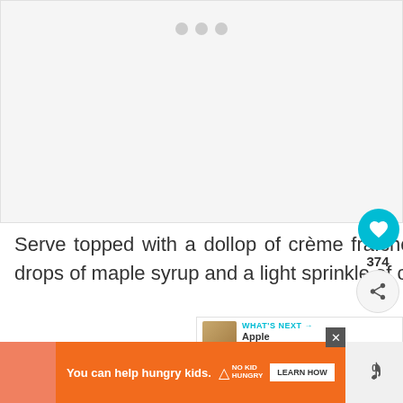[Figure (photo): Large image placeholder area with light gray background and three gray dots at top center, indicating a loading or carousel image]
Serve topped with a dollop of crème fraîche, cream or plain yogurt, a few drops of maple syrup and a light sprinkle of cinnamon.
[Figure (infographic): Like button (heart icon in teal circle) showing count 374, share button below]
[Figure (infographic): WHAT'S NEXT panel with thumbnail and text 'Apple Cinnamon...']
[Figure (infographic): Advertisement banner: 'You can help hungry kids.' with No Kid Hungry logo and LEARN HOW button, plus WW logo on right]